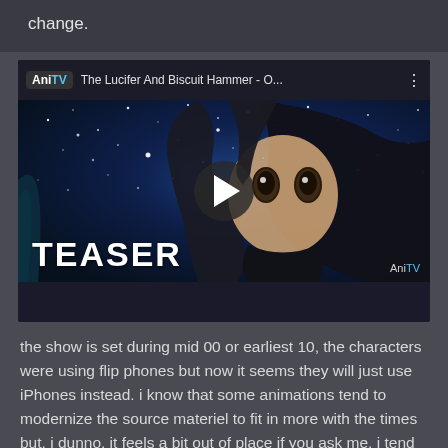change.
[Figure (screenshot): YouTube-style embedded video player showing an anime teaser for 'The Lucifer And Biscuit Hammer - O...' from AniTV channel. The thumbnail shows an anime character (dark-haired girl) against a starry blue background with the word TEASER in large white text at the bottom left. A play button is visible in the center of the video.]
the show is set during mid 00 or earliest 10, the characters were using flip phones but now it seems they will just use iPhones instead. i know that some animations tend to modernize the source materiel to fit in more with the times but, i dunno, it feels a bit out of place if you ask me. i tend to like things to be just